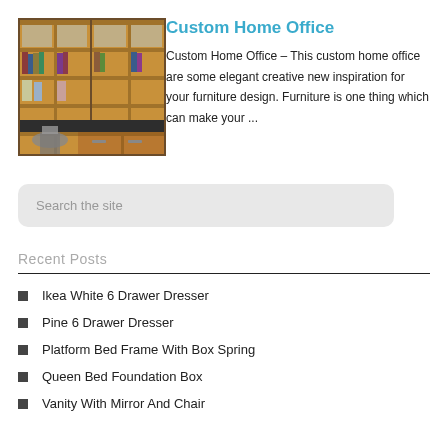[Figure (photo): Photo of a custom home office with wooden shelving units, a desk with a dark countertop, and a chair.]
Custom Home Office
Custom Home Office – This custom home office are some elegant creative new inspiration for your furniture design. Furniture is one thing which can make your ...
Search the site
Recent Posts
Ikea White 6 Drawer Dresser
Pine 6 Drawer Dresser
Platform Bed Frame With Box Spring
Queen Bed Foundation Box
Vanity With Mirror And Chair